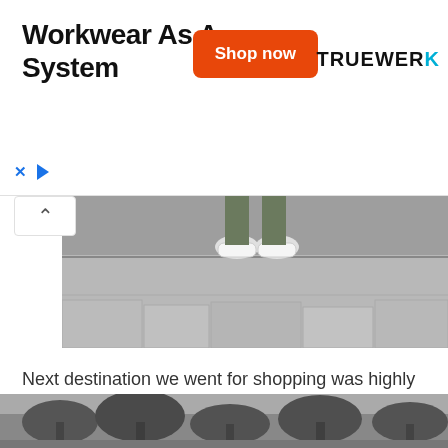[Figure (other): Advertisement banner for TRUEWERK: 'Workwear As A System' with orange 'Shop now' button and TRUEWERK logo]
[Figure (photo): Close-up of person's feet/shoes standing on a concrete ledge or step, wearing white sneakers and dark pants]
Next destination we went for shopping was highly recommended by my friend is Setiabudi area that is filled with alot of branded factory outlet and one of the famous one in the area that shall not miss is 'Ruman Mode' which host alot of international branded brands with some of them are rejects.
[Figure (photo): Outdoor scene with palm trees and other tropical trees, black and white or desaturated]